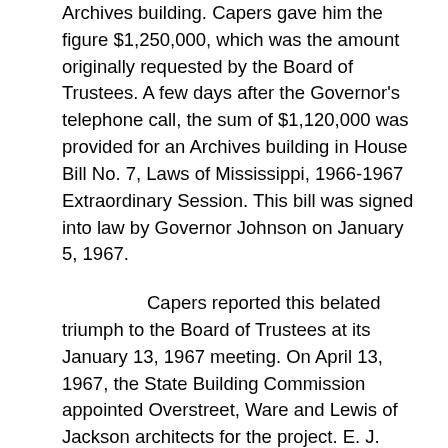Archives building. Capers gave him the figure $1,250,000, which was the amount originally requested by the Board of Trustees. A few days after the Governor's telephone call, the sum of $1,120,000 was provided for an Archives building in House Bill No. 7, Laws of Mississippi, 1966-1967 Extraordinary Session. This bill was signed into law by Governor Johnson on January 5, 1967.
Capers reported this belated triumph to the Board of Trustees at its January 13, 1967 meeting. On April 13, 1967, the State Building Commission appointed Overstreet, Ware and Lewis of Jackson architects for the project. E. J. Yelverton was executive secretary of the State Building Commission at the time. Mr. Joe Ware, partner in the Overstreet, Ware and Lewis firm, and Capers visited many archival establishments throughout the country to familiarize themselves with the special requirements of archival repositories, and put the plan for